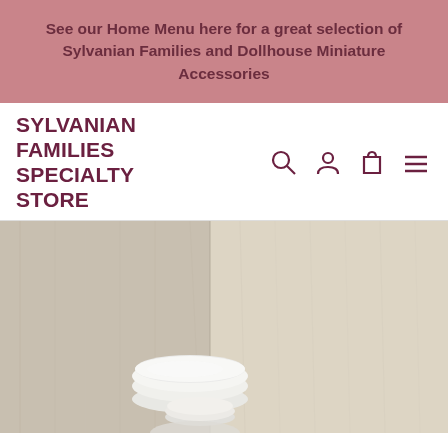See our Home Menu here for a great selection of Sylvanian Families and Dollhouse Miniature Accessories
SYLVANIAN FAMILIES SPECIALTY STORE
[Figure (photo): Product photo showing a small white rounded lid/disc object against a light wood-grain background, likely a miniature dollhouse accessory]